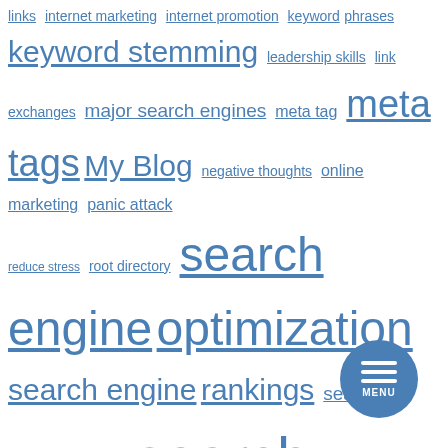[Figure (infographic): Tag cloud with SEO and digital marketing related keywords in varying font sizes and blue color, representing frequency/importance. Keywords include: links, internet marketing, internet promotion, keyword phrases, keyword stemming, leadership skills, link exchanges, major search engines, meta tag, meta tags, My Blog, negative thoughts, online marketing, panic attack, reduce stress, root directory, search engine optimization, search engine rankings, search engine results, search engines, search engine spiders, search results, seo techniques, site map, social media, social networking sites, stressful situations, stress levels, team members, title tag, video sitemap, web marketing]
[Figure (infographic): Circular blue menu button with three horizontal white lines and MENU label at bottom right of page]